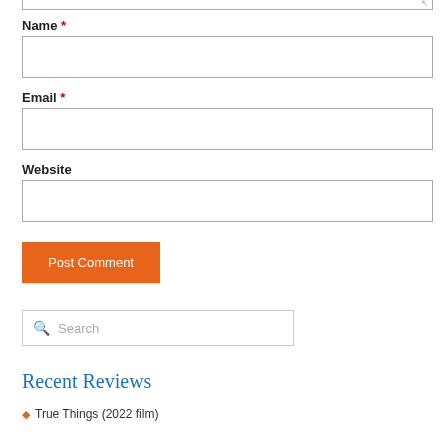[Figure (screenshot): Top edge of a textarea input with resize handle in bottom-right corner]
Name *
[Figure (screenshot): Text input field for Name]
Email *
[Figure (screenshot): Text input field for Email]
Website
[Figure (screenshot): Text input field for Website]
[Figure (screenshot): Orange Post Comment submit button]
[Figure (screenshot): Search box with magnifying glass icon and placeholder text Search]
Recent Reviews
True Things (2022 film)